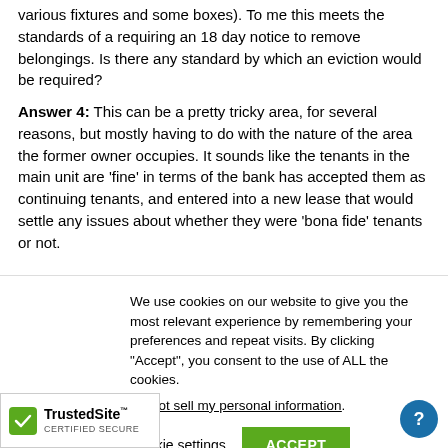various fixtures and some boxes). To me this meets the standards of a requiring an 18 day notice to remove belongings. Is there any standard by which an eviction would be required?
Answer 4: This can be a pretty tricky area, for several reasons, but mostly having to do with the nature of the area the former owner occupies. It sounds like the tenants in the main unit are 'fine' in terms of the bank has accepted them as continuing tenants, and entered into a new lease that would settle any issues about whether they were 'bona fide' tenants or not.
We use cookies on our website to give you the most relevant experience by remembering your preferences and repeat visits. By clicking "Accept", you consent to the use of ALL the cookies.
Do not sell my personal information.
Cookie settings  ACCEPT